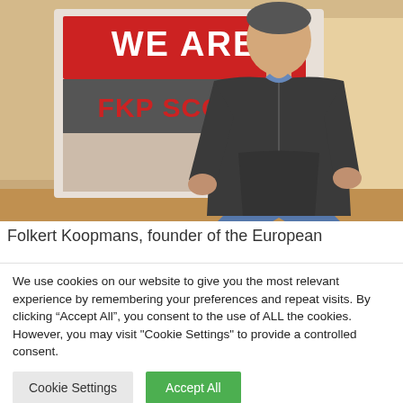[Figure (photo): A man standing in front of a 'WE ARE FKP SCORPIO' sign/mural on a wall, wearing a dark hoodie and blue jeans.]
Folkert Koopmans, founder of the European
We use cookies on our website to give you the most relevant experience by remembering your preferences and repeat visits. By clicking “Accept All”, you consent to the use of ALL the cookies. However, you may visit "Cookie Settings" to provide a controlled consent.